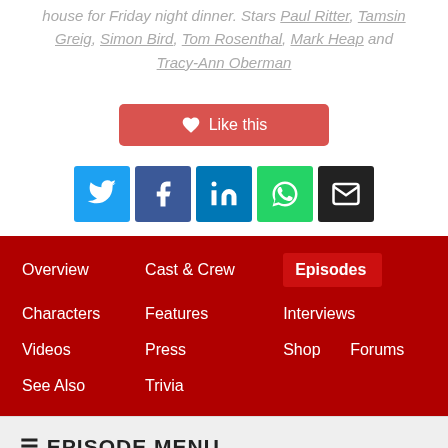house for Friday night dinner. Stars Paul Ritter, Tamsin Greig, Simon Bird, Tom Rosenthal, Mark Heap and Tracy-Ann Oberman
[Figure (infographic): Like this button with heart icon, salmon/red rounded rectangle]
[Figure (infographic): Row of five social media icon buttons: Twitter (blue bird), Facebook (blue f), LinkedIn (blue in), WhatsApp (green phone), Email (black envelope)]
Overview
Cast & Crew
Episodes
Characters
Features
Interviews
Videos
Press
Shop
Forums
See Also
Trivia
≡ EPISODE MENU
Series 1, Episode 2 – The...